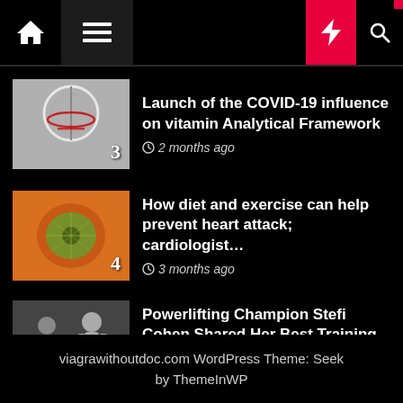Navigation header with home, menu, dark mode, lightning/trending, and search icons
Launch of the COVID-19 influence on vitamin Analytical Framework — 2 months ago — item 3
How diet and exercise can help prevent heart attack; cardiologist… — 3 months ago — item 4
Powerlifting Champion Stefi Cohen Shared Her Best Training Advice — 3 months ago — item 5
viagrawithoutdoc.com WordPress Theme: Seek by ThemeInWP